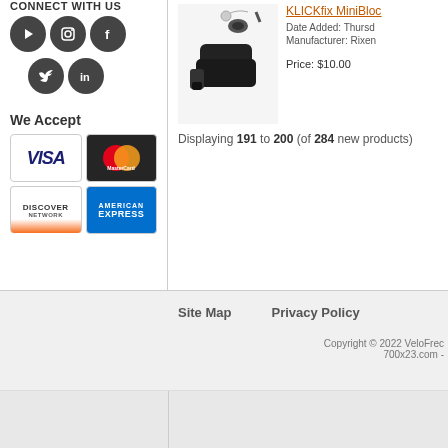Connect with us
[Figure (illustration): Social media icons: YouTube, Instagram, Facebook, Twitter, LinkedIn in dark circular buttons]
We Accept
[Figure (illustration): Payment method logos: Visa, MasterCard, Discover Network, American Express]
[Figure (photo): KLICKfix MiniBlock product image showing a black cycling accessory mount with accessories]
KLICKfix MiniBloc
Date Added: Thursday
Manufacturer: Rixen
Price: $10.00
Displaying 191 to 200 (of 284 new products)
Site Map
Privacy Policy
Copyright © 2022 VeloFrec 700x23.com -